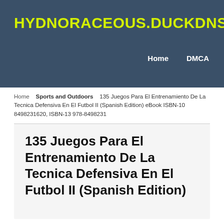HYDNORACEOUS.DUCKDNS.ORG
Home    DMCA
Home    Sports and Outdoors    135 Juegos Para El Entrenamiento De La Tecnica Defensiva En El Futbol II (Spanish Edition) eBook ISBN-10 8498231620, ISBN-13 978-8498231
135 Juegos Para El Entrenamiento De La Tecnica Defensiva En El Futbol II (Spanish Edition)